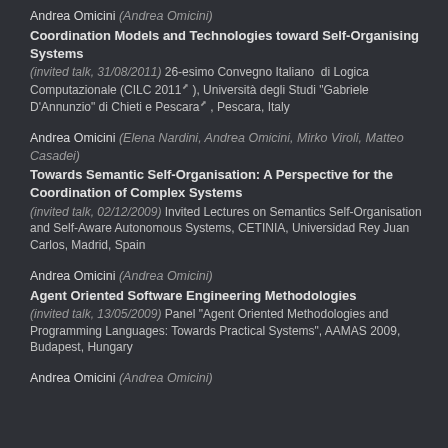Andrea Omicini (Andrea Omicini)
Coordination Models and Technologies toward Self-Organising Systems
(invited talk, 31/08/2011) 26-esimo Convegno Italiano di Logica Computazionale (CILC 2011), Università degli Studi "Gabriele D'Annunzio" di Chieti e Pescara, Pescara, Italy
Andrea Omicini (Elena Nardini, Andrea Omicini, Mirko Viroli, Matteo Casadei)
Towards Semantic Self-Organisation: A Perspective for the Coordination of Complex Systems
(invited talk, 02/12/2009) Invited Lectures on Semantics Self-Organisation and Self-Aware Autonomous Systems, CETINIA, Universidad Rey Juan Carlos, Madrid, Spain
Andrea Omicini (Andrea Omicini)
Agent Oriented Software Engineering Methodologies
(invited talk, 13/05/2009) Panel "Agent Oriented Methodologies and Programming Languages: Towards Practical Systems", AAMAS 2009, Budapest, Hungary
Andrea Omicini (Andrea Omicini)